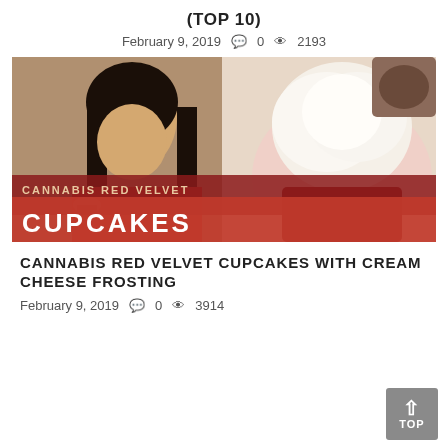(TOP 10)
February 9, 2019  💬 0  👁 2193
[Figure (photo): A woman holding a red velvet cupcake on the left, and a close-up of a red velvet cupcake with cream cheese frosting on the right. Text overlay reads 'CANNABIS RED VELVET CUPCAKES'.]
CANNABIS RED VELVET CUPCAKES WITH CREAM CHEESE FROSTING
February 9, 2019  💬 0  👁 3914